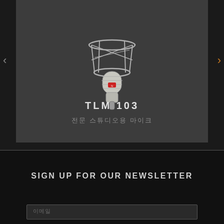[Figure (photo): Studio condenser microphone TLM 103 in a shock mount/cradle, nickel finish, photographed on dark background]
TLM 103
전문 스튜디오용 마이크
SIGN UP FOR OUR NEWSLETTER